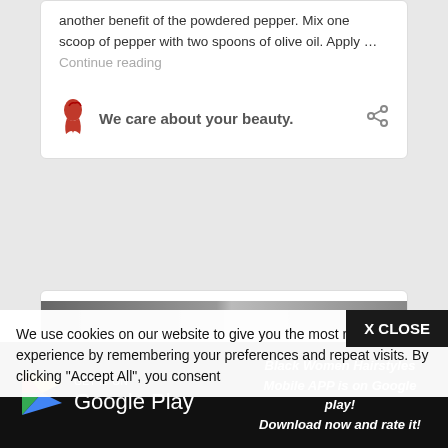another benefit of the powdered pepper. Mix one scoop of pepper with two spoons of olive oil. Apply … Continue reading
We care about your beauty.
[Figure (screenshot): A dark/grayscale image strip at the top of a second content card]
We use cookies on our website to give you the most relevant experience by remembering your preferences and repeat visits. By clicking "Accept All", you consent
X CLOSE
[Figure (infographic): Google Play store badge with play triangle icon in red/yellow/green/blue and text GET IT ON Google Play on black background]
Black Women Hairstyles Mobile APP is on Google play! Download now and rate it!